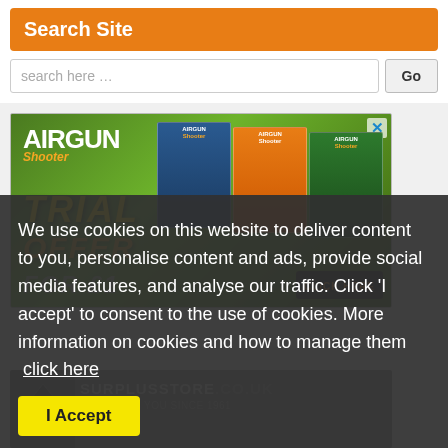Search Site
search here …
[Figure (screenshot): Airgun Shooter magazine advertisement showing 'TRIAL OFFER' text with magazine covers on green background]
We use cookies on this website to deliver content to you, personalise content and ads, provide social media features, and analyse our traffic. Click 'I accept' to consent to the use of cookies. More information on cookies and how to manage them  click here
[Figure (screenshot): SurplusStore.co.uk banner advertisement showing logo and tagline 'Supplying You Since 1961']